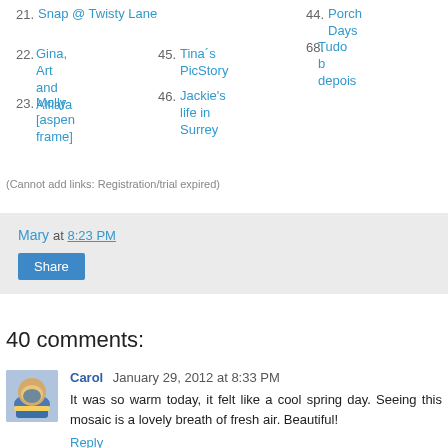21. Snap @ Twisty Lane
44. Porch Days
67. photo b...
22. Gina, Art and Alflafa
45. Tina´s PicStory
68. Tudo b... depois...
23. Molly [aspen frame]
46. Jackie's life in Surrey
(Cannot add links: Registration/trial expired)
Mary at 8:23 PM
Share
40 comments:
[Figure (photo): Avatar image of Carol, showing a coffee mug]
Carol  January 29, 2012 at 8:33 PM
It was so warm today, it felt like a cool spring day. Seeing this mosaic is a lovely breath of fresh air. Beautiful!
Reply